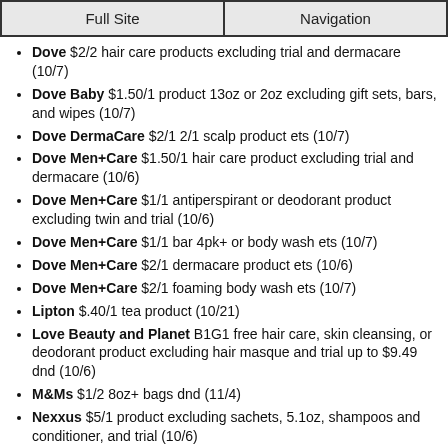| Full Site | Navigation |
| --- | --- |
Dove $2/2 hair care products excluding trial and dermacare (10/7)
Dove Baby $1.50/1 product 13oz or 2oz excluding gift sets, bars, and wipes (10/7)
Dove DermaCare $2/1 2/1 scalp product ets (10/7)
Dove Men+Care $1.50/1 hair care product excluding trial and dermacare (10/6)
Dove Men+Care $1/1 antiperspirant or deodorant product excluding twin and trial (10/6)
Dove Men+Care $1/1 bar 4pk+ or body wash ets (10/7)
Dove Men+Care $2/1 dermacare product ets (10/6)
Dove Men+Care $2/1 foaming body wash ets (10/7)
Lipton $.40/1 tea product (10/21)
Love Beauty and Planet B1G1 free hair care, skin cleansing, or deodorant product excluding hair masque and trial up to $9.49 dnd (10/6)
M&Ms $1/2 8oz+ bags dnd (11/4)
Nexxus $5/1 product excluding sachets, 5.1oz, shampoos and conditioner, and trial (10/6)
Noxzema $.50/1 3-blade razor (10/15)